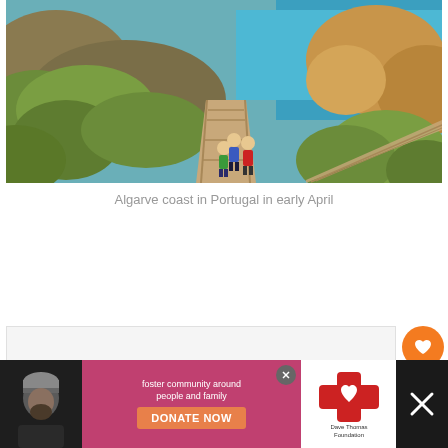[Figure (photo): Coastal cliffs with green shrubs and wooden boardwalk staircase descending toward the ocean. Three people (one in green jacket, one in blue, one in red jacket) walking down the boardwalk steps. Blue ocean and golden rocky cliffs visible in the background. Algarve coast, Portugal.]
Algarve coast in Portugal in early April
[Figure (screenshot): Advertisement banner at the bottom: dark background with a person wearing a knit hat on the left, pink/magenta background with partial text 'foster community around people and family', orange DONATE NOW button, Dave Thomas Foundation for Adoption logo, and close X button on right side.]